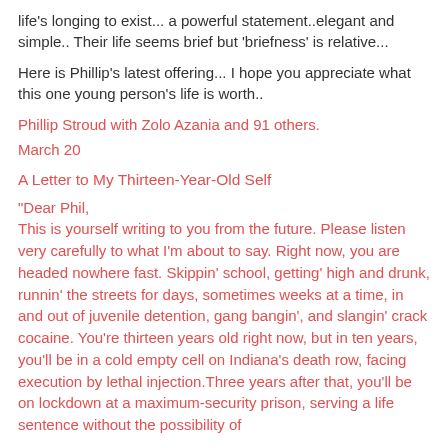life's longing to exist... a powerful statement..elegant and simple.. Their life seems brief but 'briefness' is relative...
Here is Phillip's latest offering... I hope you appreciate what this one young person's life is worth..
Phillip Stroud with Zolo Azania and 91 others.
March 20
A Letter to My Thirteen-Year-Old Self
"Dear Phil,
This is yourself writing to you from the future. Please listen very carefully to what I'm about to say. Right now, you are headed nowhere fast. Skippin' school, getting' high and drunk, runnin' the streets for days, sometimes weeks at a time, in and out of juvenile detention, gang bangin', and slangin' crack cocaine. You're thirteen years old right now, but in ten years, you'll be in a cold empty cell on Indiana's death row, facing execution by lethal injection.Three years after that, you'll be on lockdown at a maximum-security prison, serving a life sentence without the possibility of